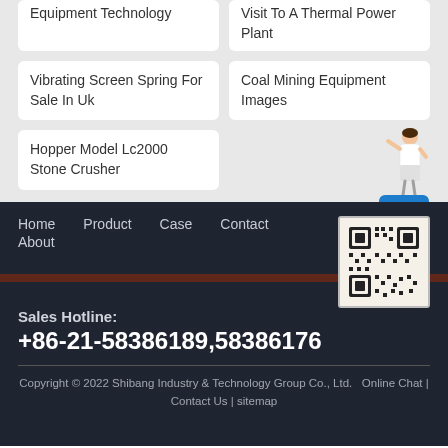Equipment Technology
Visit To A Thermal Power Plant
Vibrating Screen Spring For Sale In Uk
Coal Mining Equipment Images
Hopper Model Lc2000 Stone Crusher
[Figure (other): Woman figure with Free chat button widget]
Home  Product  Case  Contact  About
Sales Hotline:
+86-21-58386189,58386176
Copyright © 2022 Shibang Industry & Technology Group Co., Ltd.  Online Chat | Contact Us | sitemap
[Figure (other): QR code image for contact]